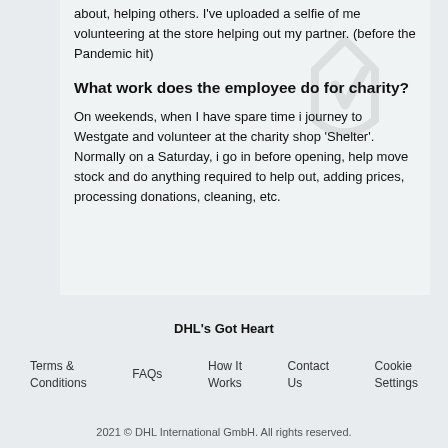about, helping others. I've uploaded a selfie of me volunteering at the store helping out my partner. (before the Pandemic hit)
What work does the employee do for charity?
On weekends, when I have spare time i journey to Westgate and volunteer at the charity shop 'Shelter'. Normally on a Saturday, i go in before opening, help move stock and do anything required to help out, adding prices, processing donations, cleaning, etc.
DHL's Got Heart
Terms & Conditions   FAQs   How It Works   Contact Us   Cookie Settings
2021 © DHL International GmbH. All rights reserved.